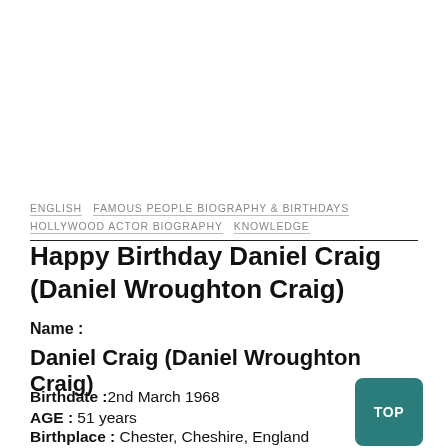ENGLISH  FAMOUS PEOPLE BIOGRAPHY & BIRTHDAYS  HOLLYWOOD ACTOR BIOGRAPHY  KNOWLEDGE
Happy Birthday Daniel Craig (Daniel Wroughton Craig)
Name :
Daniel Craig (Daniel Wroughton Craig)
Birthdate :2nd March 1968
AGE : 51 years
Birthplace : Chester, Cheshire, England